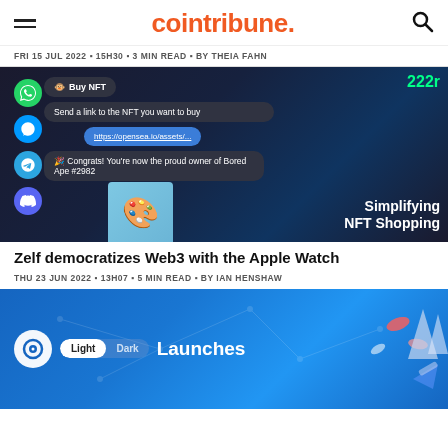cointribune.
FRI 15 JUL 2022 ▪ 15H30 ▪ 3 MIN READ ▪ BY THEIA FAHN
[Figure (screenshot): Screenshot of a chat interface showing NFT buying via messaging apps (WhatsApp, Messenger, Telegram, Discord). Messages show: 'Buy NFT', 'Send a link to the NFT you want to buy', 'https://opensea.io/assets/...', 'Congrats! You're now the proud owner of Bored Ape #2982'. Text overlay reads 'Simplifying NFT Shopping'.]
Zelf democratizes Web3 with the Apple Watch
THU 23 JUN 2022 ▪ 13H07 ▪ 5 MIN READ ▪ BY IAN HENSHAW
[Figure (screenshot): Blue gradient promotional image showing a logo icon, a Light/Dark toggle, text 'Launches' and decorative 3D elements on the right side.]